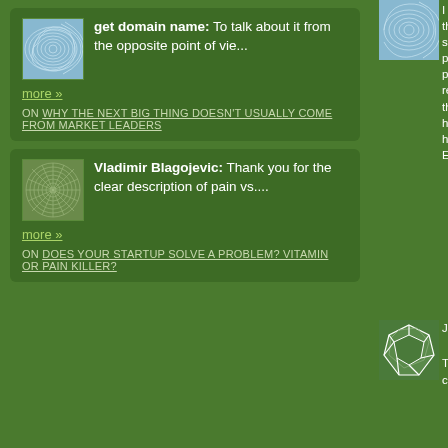[Figure (illustration): Avatar with spiral/wave pattern, light blue]
get domain name: To talk about it from the opposite point of vie...
more »
ON WHY THE NEXT BIG THING DOESN'T USUALLY COME FROM MARKET LEADERS
[Figure (illustration): Avatar with mandala/circular pattern, green tones]
Vladimir Blagojevic: Thank you for the clear description of pain vs....
more »
ON DOES YOUR STARTUP SOLVE A PROBLEM? VITAMIN OR PAIN KILLER?
[Figure (illustration): Avatar with spiral pattern, right column top]
I lo tha ste pri pu rea thi has hel Ed
[Figure (illustration): Avatar with polygon/voronoi pattern, right column middle]
Jus The co
[Figure (illustration): Avatar with wave pattern, right column bottom]
Ed se I gu do